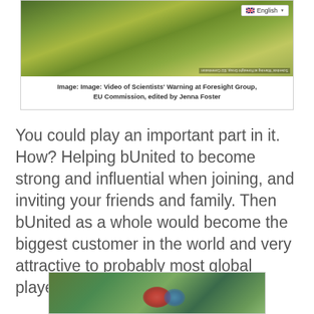[Figure (photo): A nature/jungle scene with lush green foliage, plants and leaves. Has an English language selector badge in the top right corner. Watermark text rotated at bottom right reads 'Scientists' Warning at Foresight Group, EU Commission'.]
Image: Image: Video of Scientists' Warning at Foresight Group, EU Commission, edited by Jenna Foster
You could play an important part in it. How? Helping bUnited to become strong and influential when joining, and inviting your friends and family. Then bUnited as a whole would become the biggest customer in the world and very attractive to probably most global players.
[Figure (photo): A nature scene with green foliage and colorful elements including red and blue circular forms visible at the bottom center of the image.]